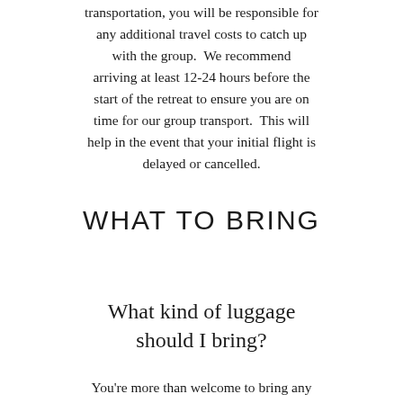transportation, you will be responsible for any additional travel costs to catch up with the group.  We recommend arriving at least 12-24 hours before the start of the retreat to ensure you are on time for our group transport.  This will help in the event that your initial flight is delayed or cancelled.
WHAT TO BRING
What kind of luggage should I bring?
You're more than welcome to bring any